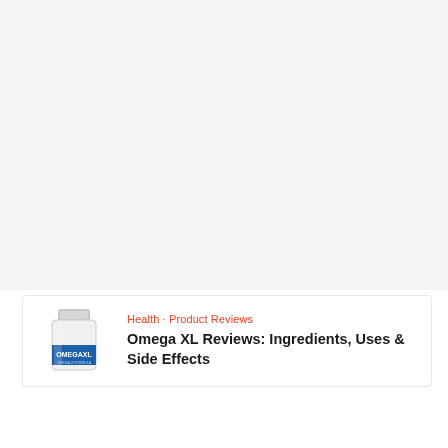[Figure (photo): Large empty/advertisement area at top of page with light gray background]
[Figure (photo): Omega XL supplement bottle product image]
Health · Product Reviews
Omega XL Reviews: Ingredients, Uses & Side Effects